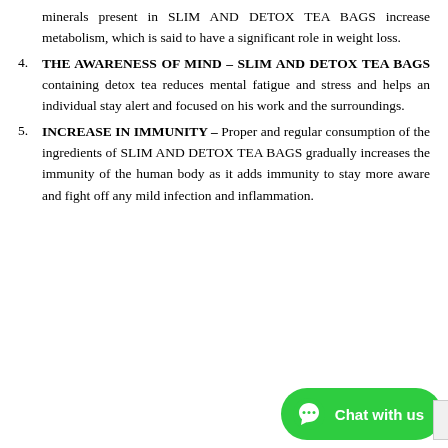minerals present in SLIM AND DETOX TEA BAGS increase metabolism, which is said to have a significant role in weight loss.
4. THE AWARENESS OF MIND – SLIM AND DETOX TEA BAGS containing detox tea reduces mental fatigue and stress and helps an individual stay alert and focused on his work and the surroundings.
5. INCREASE IN IMMUNITY – Proper and regular consumption of the ingredients of SLIM AND DETOX TEA BAGS gradually increases the immunity of the human body as it adds immunity to stay more aware and fight off any mild infection and inflammation.